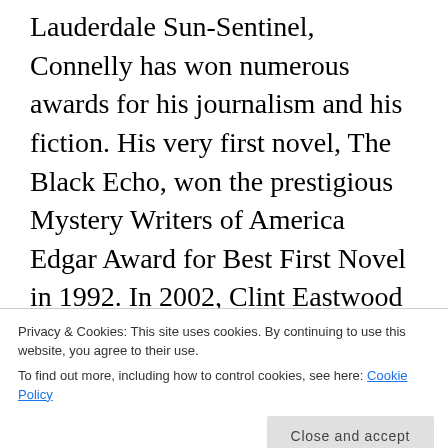Lauderdale Sun-Sentinel, Connelly has won numerous awards for his journalism and his fiction. His very first novel, The Black Echo, won the prestigious Mystery Writers of America Edgar Award for Best First Novel in 1992. In 2002, Clint Eastwood directed and starred in the movie adaptation of Connelly's 1998 novel, Blood Work. In March 2011, the movie adaptation of his #1 bestselling novel, The Lincoln Lawyer, hit theaters worldwide starring Matthew McConaughey as Mickey Haller. His most recent New York Times bestsellers include Fair Warning, The Night Fire, Dark
Privacy & Cookies: This site uses cookies. By continuing to use this website, you agree to their use.
To find out more, including how to control cookies, see here: Cookie Policy
Close and accept
producer of BOSCH, an Amazon Studios original